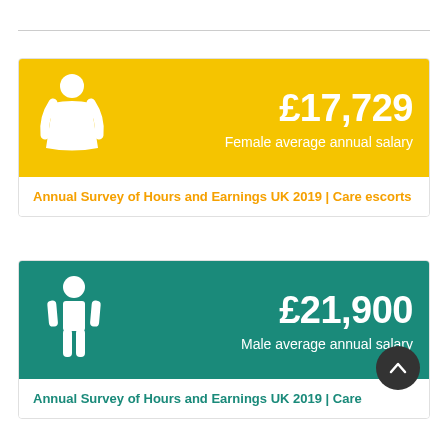[Figure (infographic): Female average annual salary infographic card. Yellow/gold background with white female icon on left. Shows £17,729 in large white text. Label: 'Female average annual salary'. Source: Annual Survey of Hours and Earnings UK 2019 | Care escorts.]
Annual Survey of Hours and Earnings UK 2019 | Care escorts
[Figure (infographic): Male average annual salary infographic card. Teal/green background with white male icon on left. Shows £21,900 in large white text. Label: 'Male average annual salary'. Source: Annual Survey of Hours and Earnings UK 2019 | Care (partially visible).]
Annual Survey of Hours and Earnings UK 2019 | Care